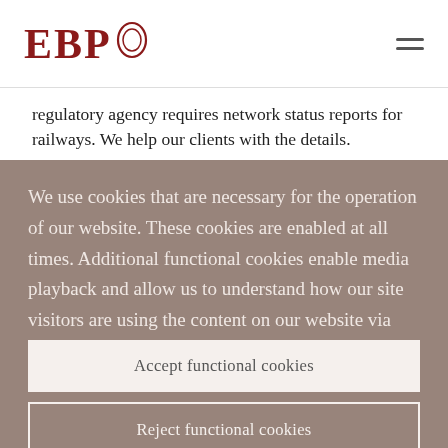EBP
regulatory agency requires network status reports for railways. We help our clients with the details.
We use cookies that are necessary for the operation of our website. These cookies are enabled at all times. Additional functional cookies enable media playback and allow us to understand how our site visitors are using the content on our website via analytic tools. This enables us to
Accept functional cookies
Reject functional cookies